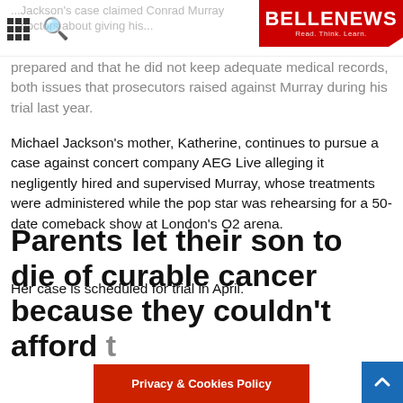BELLENEWS — Read. Think. Learn.
prepared and that he did not keep adequate medical records, both issues that prosecutors raised against Murray during his trial last year.
Michael Jackson's mother, Katherine, continues to pursue a case against concert company AEG Live alleging it negligently hired and supervised Murray, whose treatments were administered while the pop star was rehearsing for a 50-date comeback show at London's O2 arena.
Her case is scheduled for trial in April.
Parents let their son to die of curable cancer because they couldn't afford treatment